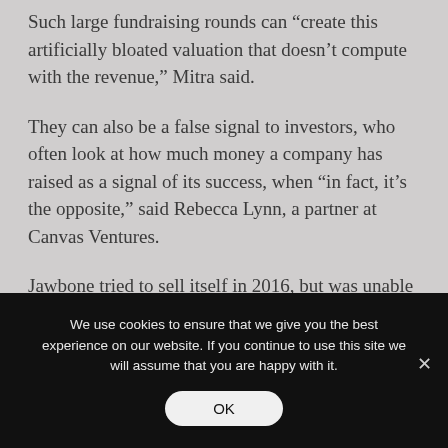Such large fundraising rounds can “create this artificially bloated valuation that doesn’t compute with the revenue,” Mitra said.
They can also be a false signal to investors, who often look at how much money a company has raised as a signal of its success, when “in fact, it’s the opposite,” said Rebecca Lynn, a partner at Canvas Ventures.
Jawbone tried to sell itself in 2016, but was unable to find a buyer, according to investors with knowledge of the matter. It has been sued by vendors who allege
We use cookies to ensure that we give you the best experience on our website. If you continue to use this site we will assume that you are happy with it.